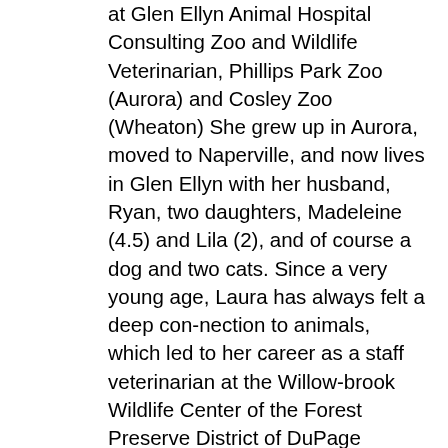at Glen Ellyn Animal Hospital Consulting Zoo and Wildlife Veterinarian, Phillips Park Zoo (Aurora) and Cosley Zoo (Wheaton) She grew up in Aurora, moved to Naperville, and now lives in Glen Ellyn with her husband, Ryan, two daughters, Madeleine (4.5) and Lila (2), and of course a dog and two cats. Since a very young age, Laura has always felt a deep con-nection to animals, which led to her career as a staff veterinarian at the Willow-brook Wildlife Center of the Forest Preserve District of DuPage County, a wildlife rehabilitation facility that provides care and medical treatment to native injured and orphaned wild animals in the western suburbs. Her days are now spent as an Associate Veterinarian at Glen Ellyn Animal Hos-pital, as well as the Consulting Zoo and Wildlife Veterinarian at Phillips Park Zoo (Aurora) and Cosley Zoo (Wheaton) examining pets and zoo animals; ad-ministering and interpreting diagnostics tests (i.e. x-rays, bloodwork); and per-forming surgeries. She also spends a significant amount of time addressing client concerns and educating pet owners and zookeepers on animal health and husbandry. Laura is an essential worker. Animals need